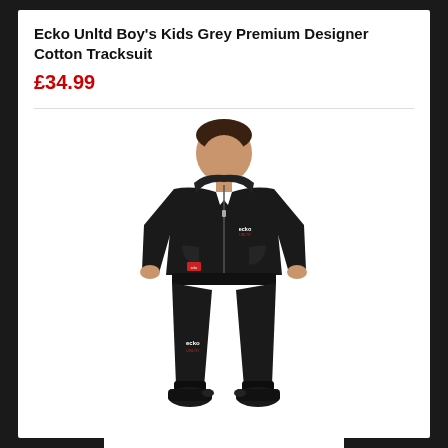Ecko Unltd Boy's Kids Grey Premium Designer Cotton Tracksuit
£34.99
[Figure (photo): A child model wearing a black Ecko Unltd zip-up hoodie tracksuit with matching black joggers and black shoes. The hoodie has the Ecko Unltd logo on the chest and the joggers have the logo on the leg.]